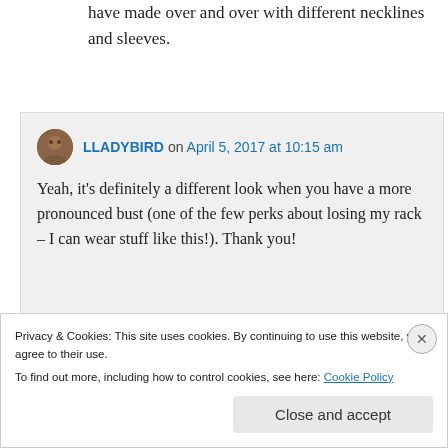have made over and over with different necklines and sleeves.
↳ Reply
LLADYBIRD on April 5, 2017 at 10:15 am
Yeah, it's definitely a different look when you have a more pronounced bust (one of the few perks about losing my rack – I can wear stuff like this!). Thank you!
Privacy & Cookies: This site uses cookies. By continuing to use this website, you agree to their use.
To find out more, including how to control cookies, see here: Cookie Policy
Close and accept